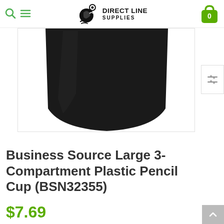Direct Line Supplies
[Figure (photo): Bottom half of a black plastic pencil cup on white background]
Business Source Large 3-Compartment Plastic Pencil Cup (BSN32355)
$7.69